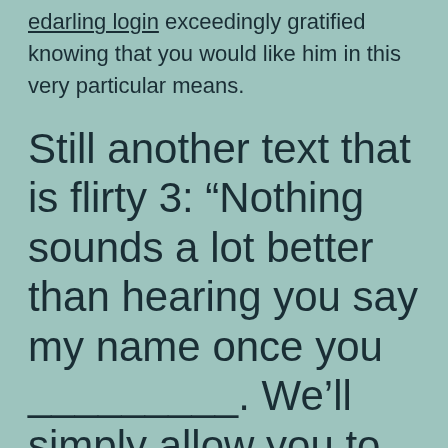edarling login exceedingly gratified knowing that you would like him in this very particular means.
Still another text that is flirty 3: “Nothing sounds a lot better than hearing you say my name once you _________. We’ll simply allow you to fill out the blank :)”